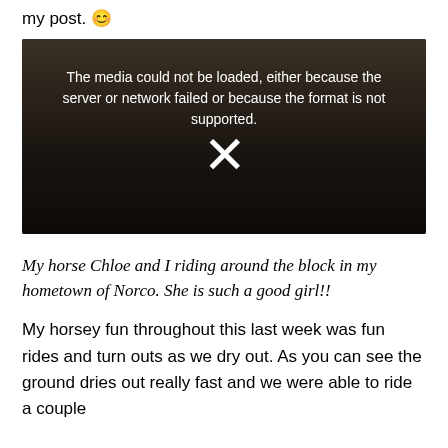my post. 😊
[Figure (screenshot): Embedded video player showing a dark outdoor scene with a white fence and trees. An error message is displayed: 'The media could not be loaded, either because the server or network failed or because the format is not supported.' with an X icon overlay.]
My horse Chloe and I riding around the block in my hometown of Norco. She is such a good girl!!
My horsey fun throughout this last week was fun rides and turn outs as we dry out. As you can see the ground dries out really fast and we were able to ride a couple